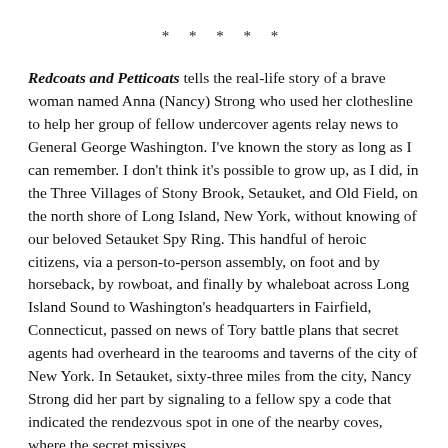* * * * *
Redcoats and Petticoats tells the real-life story of a brave woman named Anna (Nancy) Strong who used her clothesline to help her group of fellow undercover agents relay news to General George Washington. I've known the story as long as I can remember. I don't think it's possible to grow up, as I did, in the Three Villages of Stony Brook, Setauket, and Old Field, on the north shore of Long Island, New York, without knowing of our beloved Setauket Spy Ring. This handful of heroic citizens, via a person-to-person assembly, on foot and by horseback, by rowboat, and finally by whaleboat across Long Island Sound to Washington's headquarters in Fairfield, Connecticut, passed on news of Tory battle plans that secret agents had overheard in the tearooms and taverns of the city of New York. In Setauket, sixty-three miles from the city, Nancy Strong did her part by signaling to a fellow spy a code that indicated the rendezvous spot in one of the nearby coves, where the secret missives